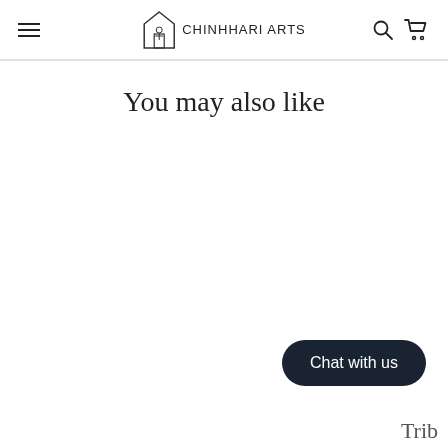CHINHHARI ARTS
You may also like
Chat with us
Trib